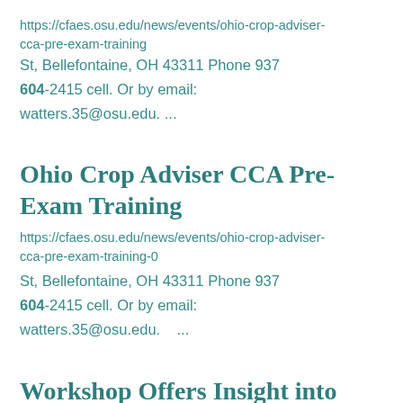https://cfaes.osu.edu/news/events/ohio-crop-adviser-cca-pre-exam-training
St, Bellefontaine, OH 43311 Phone 937
604-2415 cell. Or by email:
watters.35@osu.edu. ...
Ohio Crop Adviser CCA Pre-Exam Training
https://cfaes.osu.edu/news/events/ohio-crop-adviser-cca-pre-exam-training-0
St, Bellefontaine, OH 43311 Phone 937
604-2415 cell. Or by email:
watters.35@osu.edu.   ...
Workshop Offers Insight into